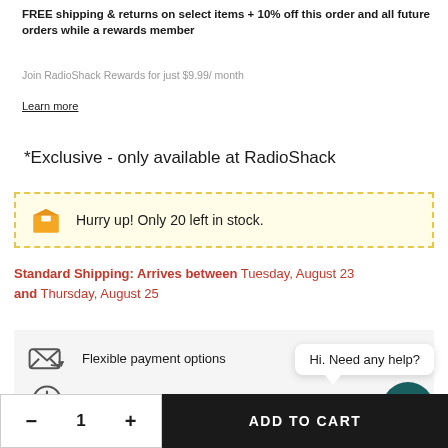FREE shipping & returns on select items + 10% off this order and all future orders while a rewards member
Join RadioShack Rewards for just $9.99/ month
Learn more
*Exclusive - only available at RadioShack
Hurry up! Only 20 left in stock.
Standard Shipping: Arrives between Tuesday, August 23 and Thursday, August 25
Flexible payment options
Quick order processing
Hi. Need any help?
ADD TO CART